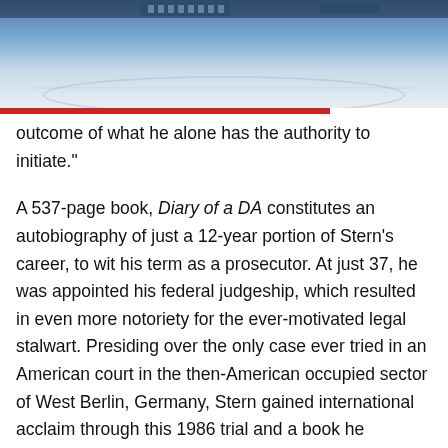[Figure (photo): Partial photograph at the top of the page showing what appears to be a courtroom or arena setting with blue tones]
outcome of what he alone has the authority to initiate."
A 537-page book, Diary of a DA constitutes an autobiography of just a 12-year portion of Stern's career, to wit his term as a prosecutor. At just 37, he was appointed his federal judgeship, which resulted in even more notoriety for the ever-motivated legal stalwart. Presiding over the only case ever tried in an American court in the then-American occupied sector of West Berlin, Germany, Stern gained international acclaim through this 1986 trial and a book he authored